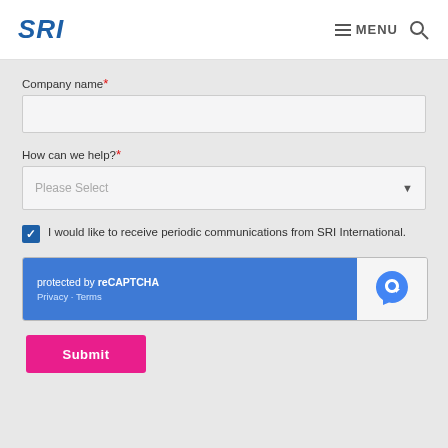SRI MENU
Company name*
How can we help?*
Please Select
I would like to receive periodic communications from SRI International.
[Figure (other): reCAPTCHA widget showing 'protected by reCAPTCHA' with Privacy and Terms links and reCAPTCHA logo]
Submit